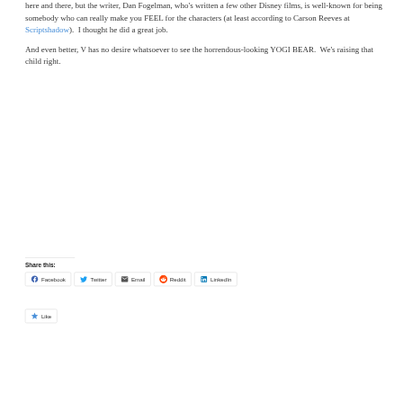here and there, but the writer, Dan Fogelman, who's written a few other Disney films, is well-known for being somebody who can really make you FEEL for the characters (at least according to Carson Reeves at Scriptshadow).  I thought he did a great job.
And even better, V has no desire whatsoever to see the horrendous-looking YOGI BEAR.  We's raising that child right.
Share this:
[Figure (other): Social share buttons: Facebook, Twitter, Email, Reddit, LinkedIn]
[Figure (other): Like button (partially visible at bottom)]